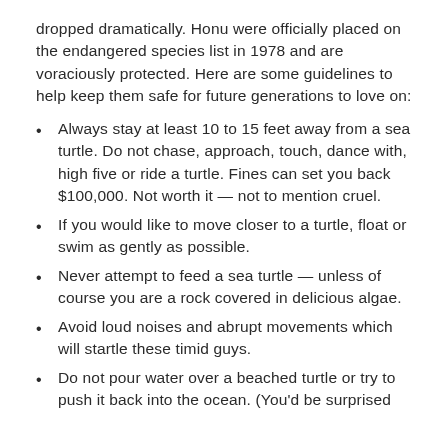dropped dramatically. Honu were officially placed on the endangered species list in 1978 and are voraciously protected. Here are some guidelines to help keep them safe for future generations to love on:
Always stay at least 10 to 15 feet away from a sea turtle. Do not chase, approach, touch, dance with, high five or ride a turtle. Fines can set you back $100,000. Not worth it — not to mention cruel.
If you would like to move closer to a turtle, float or swim as gently as possible.
Never attempt to feed a sea turtle — unless of course you are a rock covered in delicious algae.
Avoid loud noises and abrupt movements which will startle these timid guys.
Do not pour water over a beached turtle or try to push it back into the ocean. (You'd be surprised